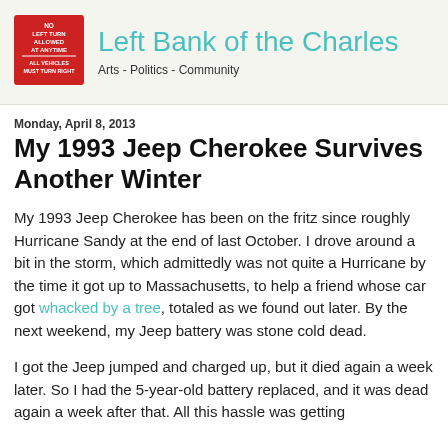[Figure (logo): Red rectangular street sign reading NO LEFT TURN ALLOWED AT ANYTIME ALL VEHICLES MUST TURN RIGHT]
Left Bank of the Charles
Arts - Politics - Community
Monday, April 8, 2013
My 1993 Jeep Cherokee Survives Another Winter
My 1993 Jeep Cherokee has been on the fritz since roughly Hurricane Sandy at the end of last October. I drove around a bit in the storm, which admittedly was not quite a Hurricane by the time it got up to Massachusetts, to help a friend whose car got whacked by a tree, totaled as we found out later. By the next weekend, my Jeep battery was stone cold dead.
I got the Jeep jumped and charged up, but it died again a week later. So I had the 5-year-old battery replaced, and it was dead again a week after that. All this hassle was getting